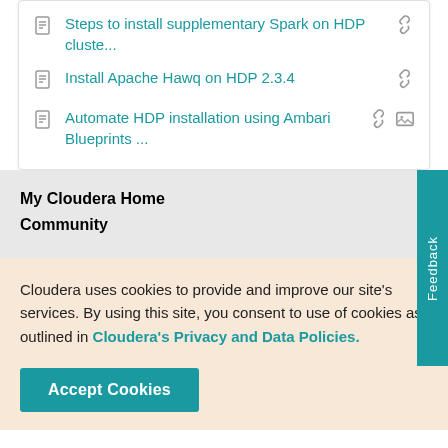Steps to install supplementary Spark on HDP cluste...
Install Apache Hawq on HDP 2.3.4
Automate HDP installation using Ambari Blueprints ...
My Cloudera Home
Community
Cloudera uses cookies to provide and improve our site's services. By using this site, you consent to use of cookies as outlined in Cloudera's Privacy and Data Policies.
Accept Cookies